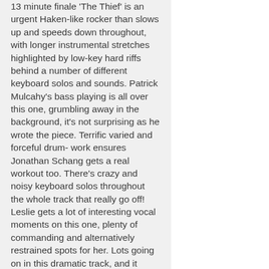13 minute finale 'The Thief' is an urgent Haken-like rocker than slows up and speeds down throughout, with longer instrumental stretches highlighted by low-key hard riffs behind a number of different keyboard solos and sounds. Patrick Mulcahy's bass playing is all over this one, grumbling away in the background, it's not surprising as he wrote the piece. Terrific varied and forceful drum- work ensures Jonathan Schang gets a real workout too. There's crazy and noisy keyboard solos throughout the whole track that really go off! Leslie gets a lot of interesting vocal moments on this one, plenty of commanding and alternatively restrained spots for her. Lots going on in this dramatic track, and it finishes the album off in a typically proggy and epic manner.
Sadly I have to point out that it's a real shame that the endless heavier guitar riffs constantly drown out Patrick Mulachy's bass playing totally. It seems